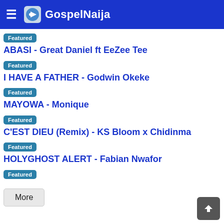GospelNaija
Featured
ABASI - Great Daniel ft EeZee Tee
Featured
I HAVE A FATHER - Godwin Okeke
Featured
MAYOWA - Monique
Featured
C'EST DIEU (Remix) - KS Bloom x Chidinma
Featured
HOLYGHOST ALERT - Fabian Nwafor
Featured
More